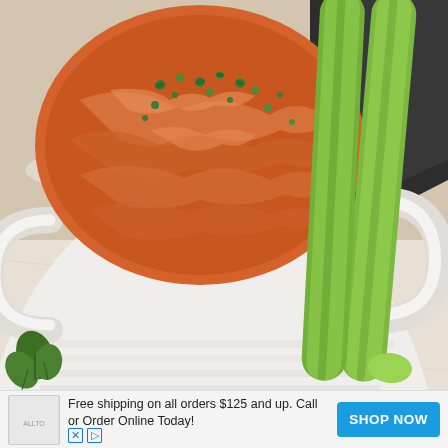[Figure (photo): A white ceramic casserole dish filled with buffalo chicken dip (shredded chicken in orange-red sauce) garnished with chopped fresh parsley/herbs, surrounded by fresh celery sticks on a white marble surface. A dark cloth napkin is visible in the upper right.]
Free shipping on all orders $125 and up. Call or Order Online Today!